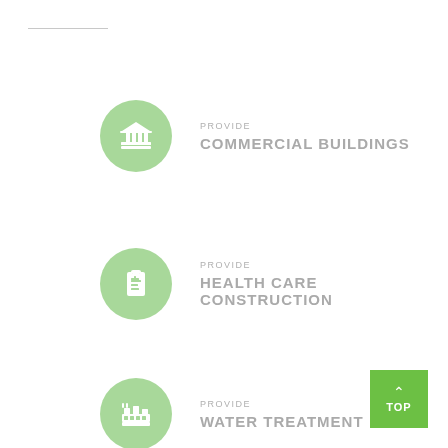[Figure (infographic): Green circle icon with a building/institution symbol representing commercial buildings]
PROVIDE
COMMERCIAL BUILDINGS
[Figure (infographic): Green circle icon with a clipboard/medical symbol representing health care construction]
PROVIDE
HEALTH CARE CONSTRUCTION
[Figure (infographic): Green circle icon with a factory/water treatment symbol representing water treatment]
PROVIDE
WATER TREATMENT